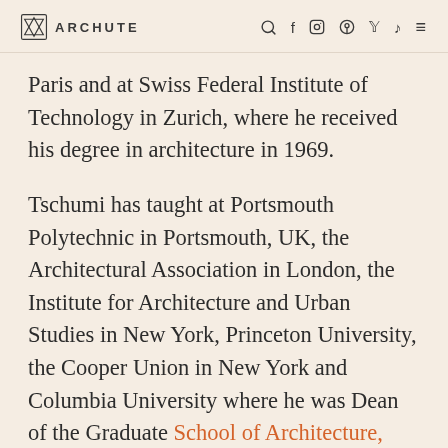ARCHUTE
Paris and at Swiss Federal Institute of Technology in Zurich, where he received his degree in architecture in 1969.
Tschumi has taught at Portsmouth Polytechnic in Portsmouth, UK, the Architectural Association in London, the Institute for Architecture and Urban Studies in New York, Princeton University, the Cooper Union in New York and Columbia University where he was Dean of the Graduate School of Architecture, Planning and Preservation from 1988 to 2003. His